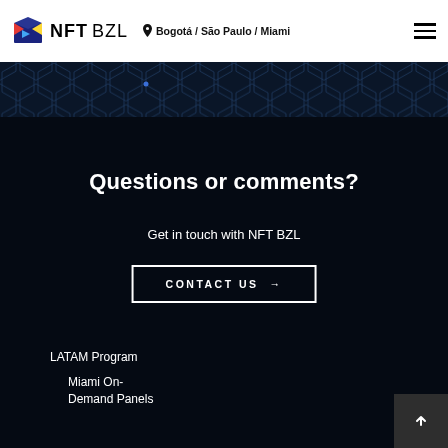NFT BZL — Bogotá / São Paulo / Miami
Questions or comments?
Get in touch with NFT BZL
CONTACT US →
LATAM Program
Miami On-Demand Panels